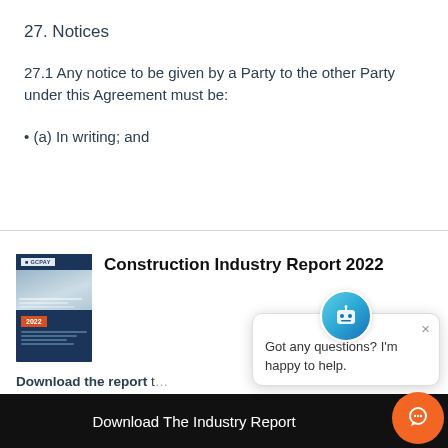27. Notices
27.1 Any notice to be given by a Party to the other Party under this Agreement must be:
• (a) In writing; and
[Figure (screenshot): Construction Industry Report 2022 promotional banner with report cover image, descriptive text about downloading the report for industry changes and new opportunities through financial automation, a Download The Industry Report button, and an overlapping chat assistant popup saying 'Got any questions? I'm happy to help.' with a close X and an orange chat button.]